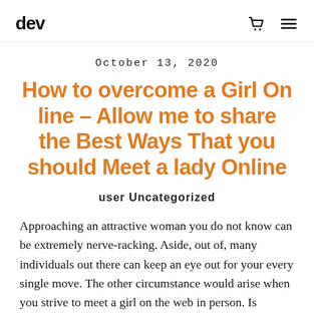dev
October 13, 2020
How to overcome a Girl On line – Allow me to share the Best Ways That you should Meet a lady Online
user Uncategorized
Approaching an attractive woman you do not know can be extremely nerve-racking. Aside, out of, many individuals out there can keep an eye out for your every single move. The other circumstance would arise when you strive to meet a girl on the web in person. Is actually personal and